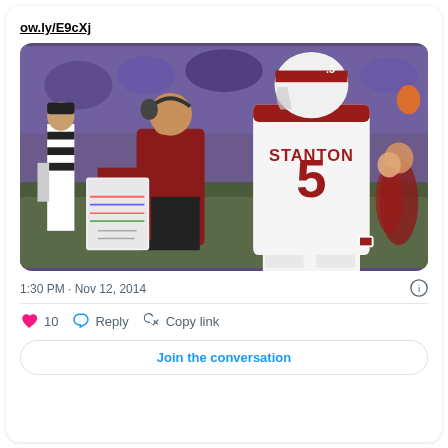ow.ly/E9cXj
[Figure (photo): Football coach in red headset talks to player #5 STANTON in white Cardinals uniform on sideline, referee visible on left]
1:30 PM · Nov 12, 2014
10  Reply  Copy link
Join the conversation